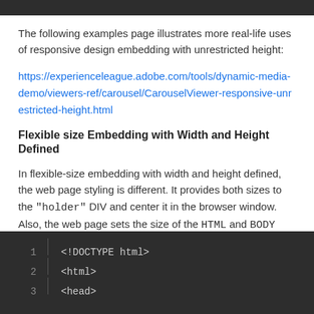The following examples page illustrates more real-life uses of responsive design embedding with unrestricted height:
https://experienceleague.adobe.com/tools/dynamic-media-demo/viewers-ref/carousel/CarouselViewer-responsive-unrestricted-height.html
Flexible size Embedding with Width and Height Defined
In flexible-size embedding with width and height defined, the web page styling is different. It provides both sizes to the "holder" DIV and center it in the browser window. Also, the web page sets the size of the HTML and BODY element to 100 percent.
[Figure (screenshot): Dark-themed code editor showing lines 1-3 of HTML: line 1: <!DOCTYPE html>, line 2: <html>, line 3: <head>]